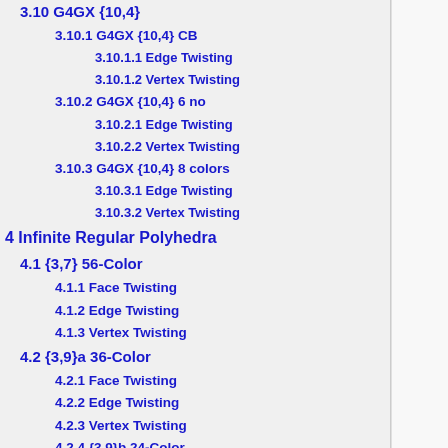3.10 G4GX {10,4}
3.10.1 G4GX {10,4} CB
3.10.1.1 Edge Twisting
3.10.1.2 Vertex Twisting
3.10.2 G4GX {10,4} 6 no
3.10.2.1 Edge Twisting
3.10.2.2 Vertex Twisting
3.10.3 G4GX {10,4} 8 colors
3.10.3.1 Edge Twisting
3.10.3.2 Vertex Twisting
4 Infinite Regular Polyhedra
4.1 {3,7} 56-Color
4.1.1 Face Twisting
4.1.2 Edge Twisting
4.1.3 Vertex Twisting
4.2 {3,9}a 36-Color
4.2.1 Face Twisting
4.2.2 Edge Twisting
4.2.3 Vertex Twisting
4.2.4 {3,9}b 24-Color
4.2.4.1 Face Twisting
4.2.4.2 Edge Twisting
4.2.4.3 Vertex Twisting